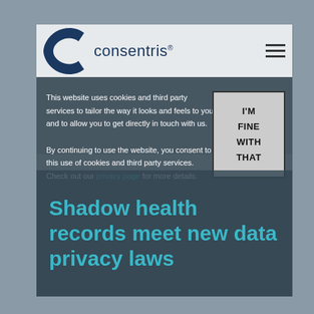[Figure (logo): Consentris logo with dark blue C letter mark and 'consentris' text with registered trademark symbol]
This website uses cookies and third party services to tailor the way it looks and feels to you, and to allow you to get directly in touch with us.
By continuing to use the website, you consent to this use of cookies and third party services. Check out our privacy page for more details.
I'M FINE WITH THAT
Shadow health records meet new data privacy laws